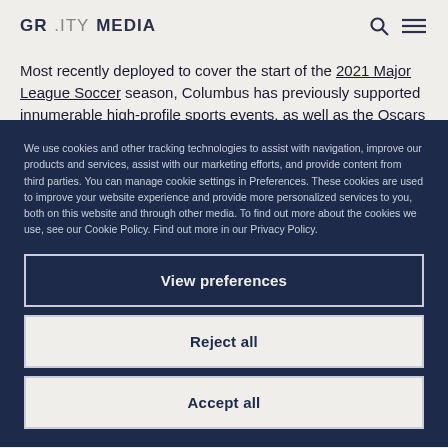GR..ITY MEDIA
Most recently deployed to cover the start of the 2021 Major League Soccer season, Columbus has previously supported innumerable high-profile sports events, as well as the Oscars Red
We use cookies and other tracking technologies to assist with navigation, improve our products and services, assist with our marketing efforts, and provide content from third parties. You can manage cookie settings in Preferences. These cookies are used to improve your website experience and provide more personalized services to you, both on this website and through other media. To find out more about the cookies we use, see our Cookie Policy. Find out more in our Privacy Policy.
View preferences
Reject all
Accept all